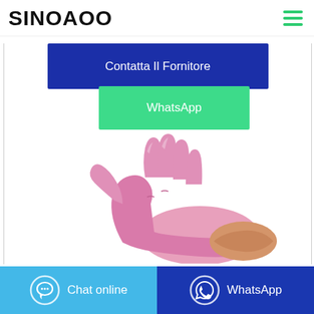SINOAOO
Contatta Il Fornitore
WhatsApp
[Figure (photo): A pink nitrile disposable glove worn on a hand, shown against a white background.]
Chat online
WhatsApp